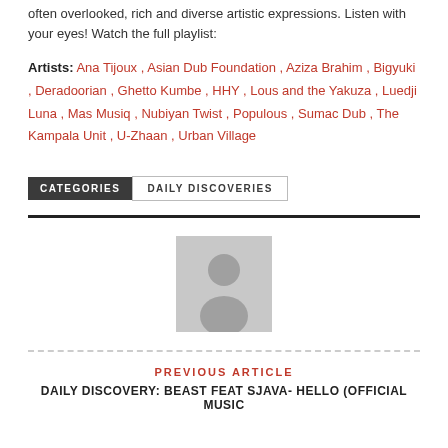often overlooked, rich and diverse artistic expressions. Listen with your eyes! Watch the full playlist:
Artists: Ana Tijoux , Asian Dub Foundation , Aziza Brahim , Bigyuki , Deradoorian , Ghetto Kumbe , HHY , Lous and the Yakuza , Luedji Luna , Mas Musiq , Nubiyan Twist , Populous , Sumac Dub , The Kampala Unit , U-Zhaan , Urban Village
CATEGORIES   DAILY DISCOVERIES
[Figure (illustration): Gray placeholder avatar image with person silhouette]
PREVIOUS ARTICLE
DAILY DISCOVERY: BEAST FEAT SJAVA- HELLO (OFFICIAL MUSIC